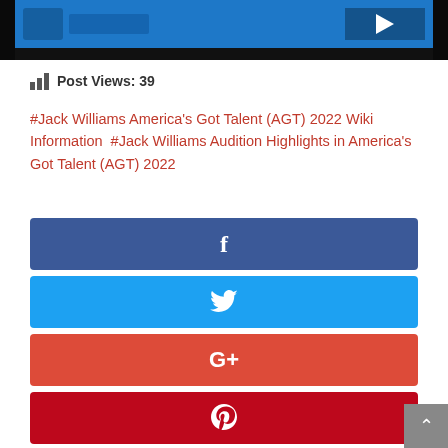[Figure (screenshot): Video thumbnail showing America's Got Talent scene with dark background and blue lighting]
Post Views: 39
#Jack Williams America's Got Talent (AGT) 2022 Wiki Information  #Jack Williams Audition Highlights in America's Got Talent (AGT) 2022
[Figure (other): Facebook share button (blue)]
[Figure (other): Twitter share button (light blue)]
[Figure (other): Google+ share button (red/orange)]
[Figure (other): Pinterest share button (red)]
[Figure (other): LinkedIn share button (partially visible, light blue)]